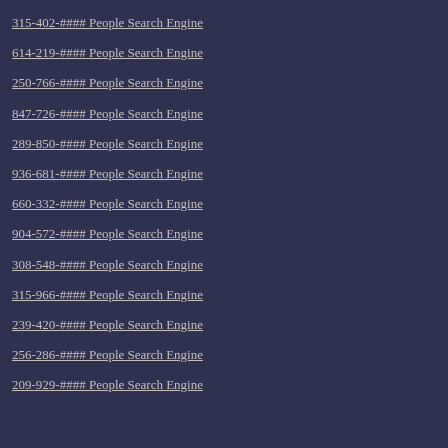315-402-#### People Search Engine
614-219-#### People Search Engine
250-766-#### People Search Engine
847-726-#### People Search Engine
289-850-#### People Search Engine
936-681-#### People Search Engine
660-332-#### People Search Engine
904-572-#### People Search Engine
308-548-#### People Search Engine
315-966-#### People Search Engine
239-420-#### People Search Engine
256-286-#### People Search Engine
209-929-#### People Search Engine